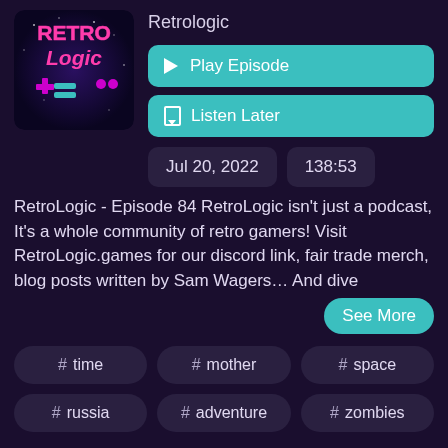[Figure (logo): RetroLogic podcast logo with pink and purple retro gaming aesthetic, showing 'Retro Logic' text with a game controller, on a dark galaxy background]
Retrologic
Play Episode
Listen Later
Jul 20, 2022
138:53
RetroLogic - Episode 84 RetroLogic isn't just a podcast, It's a whole community of retro gamers! Visit RetroLogic.games for our discord link, fair trade merch, blog posts written by Sam Wagers… And dive
See More
# time
# mother
# space
# russia
# adventure
# zombies